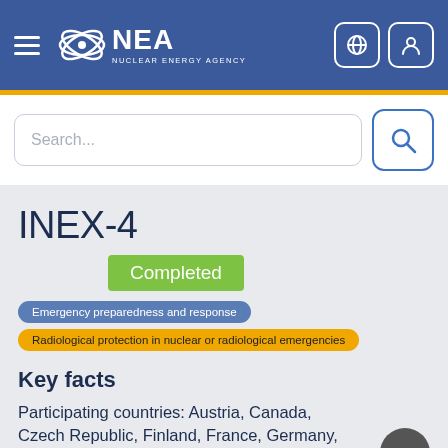[Figure (logo): NEA Nuclear Energy Agency logo and navigation header with hamburger menu, globe icon, and user icon on blue background]
[Figure (screenshot): Search bar with text 'Search...' and a search button with magnifying glass icon]
INEX-4
Completed
Emergency preparedness and response
Radiological protection in nuclear or radiological emergencies
Key facts
Participating countries: Austria, Canada, Czech Republic, Finland, France, Germany, Hungary, Netherlands, Norway, Pakistan,